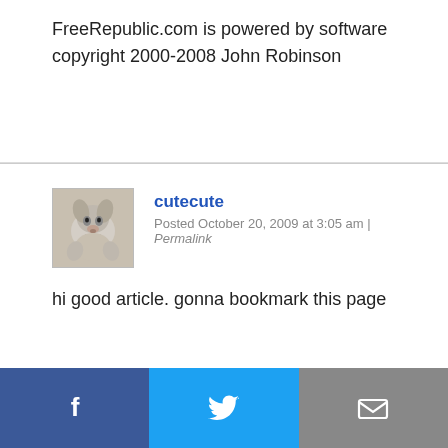FreeRepublic.com is powered by software copyright 2000-2008 John Robinson
cutecute
Posted October 20, 2009 at 3:05 am | Permalink
hi good article. gonna bookmark this page
Facebook | Twitter | Email